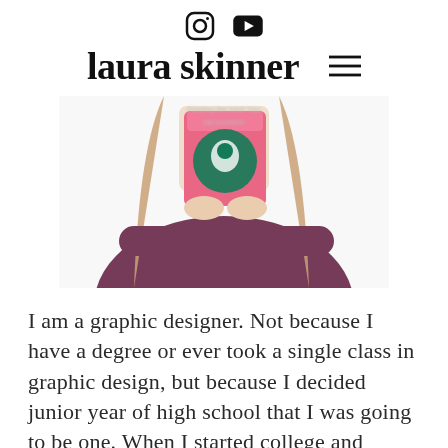[Instagram icon] [YouTube icon]
laura skinner
[Figure (photo): Person holding a Starbucks cup in front of their face, wearing a dark purple/maroon top, with long brown hair, white background, partially blurred image with text overlay visible at top]
I am a graphic designer. Not because I have a degree or ever took a single class in graphic design, but because I decided junior year of high school that I was going to be one. When I started college and things didn't quite go to plan, I embraced a "fake it 'til you make